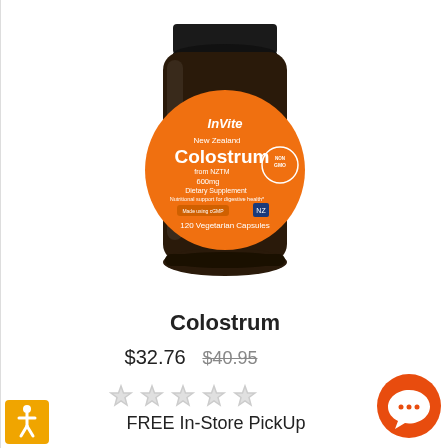[Figure (photo): InVite New Zealand Colostrum supplement bottle, dark amber glass, orange label with 'Colostrum from NZTM 600mg Dietary Supplement, 120 Vegetarian Capsules', NON-GMO badge]
Colostrum
$32.76 $40.95
[Figure (other): Five empty star rating icons in light gray]
FREE In-Store PickUp